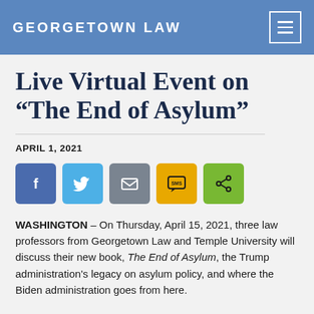GEORGETOWN LAW
Live Virtual Event on “The End of Asylum”
APRIL 1, 2021
[Figure (other): Social share buttons: Facebook (blue), Twitter (light blue), Email (gray), SMS (yellow/gold), Share (green)]
WASHINGTON – On Thursday, April 15, 2021, three law professors from Georgetown Law and Temple University will discuss their new book, The End of Asylum, the Trump administration’s legacy on asylum policy, and where the Biden administration goes from here.